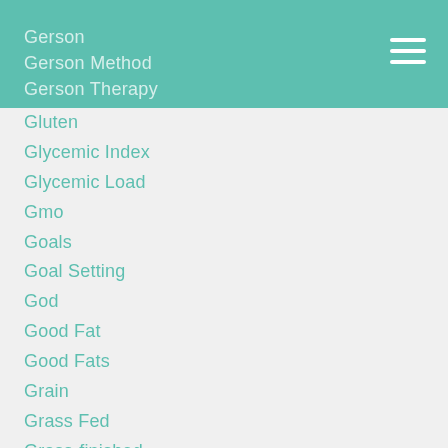Gerson
Gerson Method
Gerson Therapy
Gluten
Glycemic Index
Glycemic Load
Gmo
Goals
Goal Setting
God
Good Fat
Good Fats
Grain
Grass Fed
Grass-finished
Gratitude
Grazing
Grocery Shopping
Guardian Angel
Guilt Trip
Gut Brain Connection